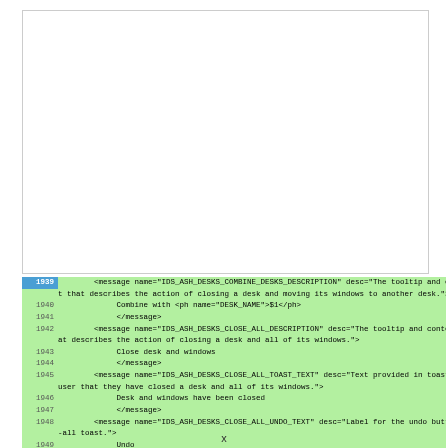[Figure (screenshot): White blank area, likely a screenshot region above code]
1939   <message name="IDS_ASH_DESKS_COMBINE_DESKS_DESCRIPTION" desc="The tooltip and context menu text that describes the action of closing a desk and moving its windows to another desk.">
1940        Combine with <ph name="DESK_NAME">$1</ph>
1941        </message>
1942   <message name="IDS_ASH_DESKS_CLOSE_ALL_DESCRIPTION" desc="The tooltip and context menu text that describes the action of closing a desk and all of its windows.">
1943        Close desk and windows
1944        </message>
1945   <message name="IDS_ASH_DESKS_CLOSE_ALL_TOAST_TEXT" desc="Text provided in toast that notifies user that they have closed a desk and all of its windows.">
1946        Desk and windows have been closed
1947        </message>
1948   <message name="IDS_ASH_DESKS_CLOSE_ALL_UNDO_TEXT" desc="Label for the undo button in the close-all toast.">
1949        Undo
1950        </message>
x